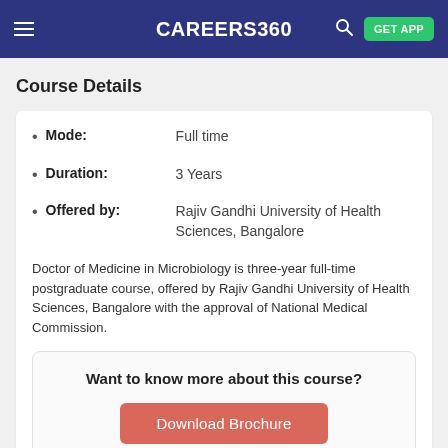CAREERS360 | GET APP
Course Details
Mode: Full time
Duration: 3 Years
Offered by: Rajiv Gandhi University of Health Sciences, Bangalore
Doctor of Medicine in Microbiology is three-year full-time postgraduate course, offered by Rajiv Gandhi University of Health Sciences, Bangalore with the approval of National Medical Commission.
Want to know more about this course?
Download Brochure